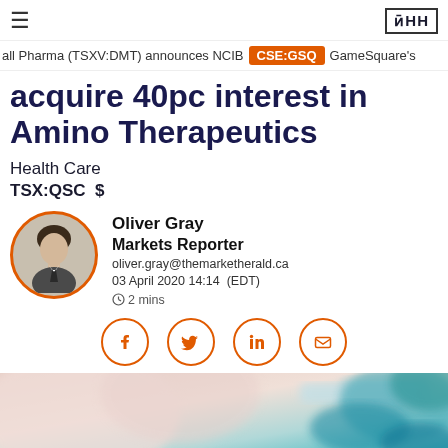≡  ЗΠН
all Pharma (TSXV:DMT) announces NCIB  CSE:GSQ  GameSquare's
acquire 40pc interest in Amino Therapeutics
Health Care
TSX:QSC  $
Oliver Gray
Markets Reporter
oliver.gray@themarketherald.ca
03 April 2020 14:14  (EDT)
🕐2 mins
[Figure (other): Social sharing icons: Facebook, Twitter, LinkedIn, Email — orange circle outlines]
[Figure (photo): Close-up photo of a medical syringe/vial being handled with blue gloved hands, blurred background]